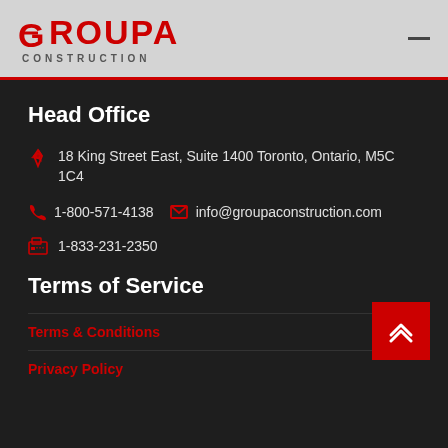GROUPA CONSTRUCTION
Head Office
18 King Street East, Suite 1400 Toronto, Ontario, M5C 1C4
1-800-571-4138   info@groupaconstruction.com
1-833-231-2350
Terms of Service
Terms & Conditions
Privacy Policy